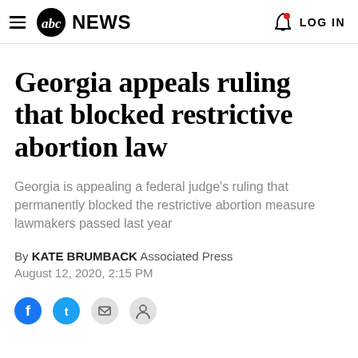≡ abcNEWS  🔔  LOG IN
Georgia appeals ruling that blocked restrictive abortion law
Georgia is appealing a federal judge's ruling that permanently blocked the restrictive abortion measure lawmakers passed last year
By KATE BRUMBACK Associated Press
August 12, 2020, 2:15 PM